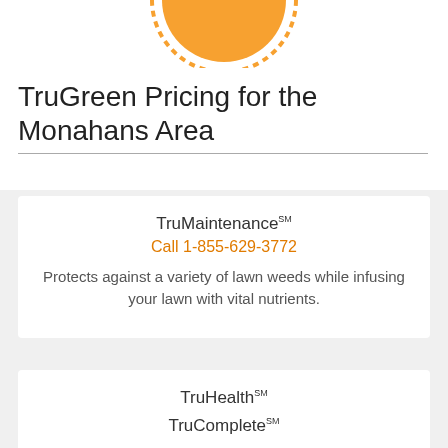[Figure (logo): TruGreen logo — orange circle with dotted border, partially cropped at top]
TruGreen Pricing for the Monahans Area
TruMaintenanceSM
Call 1-855-629-3772
Protects against a variety of lawn weeds while infusing your lawn with vital nutrients.
TruHealthSM
Call 1-855-629-3772
Feeds your lawn with essential nutrients while fighting weeds and invasive insects.
TruCompleteSM